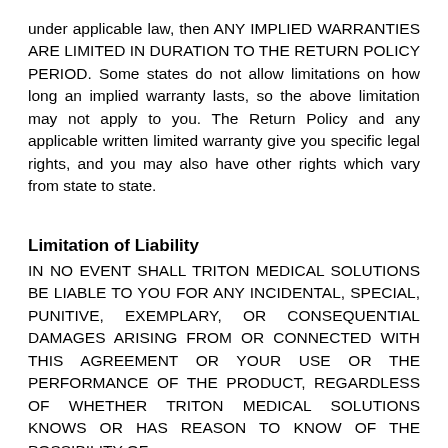under applicable law, then ANY IMPLIED WARRANTIES ARE LIMITED IN DURATION TO THE RETURN POLICY PERIOD. Some states do not allow limitations on how long an implied warranty lasts, so the above limitation may not apply to you. The Return Policy and any applicable written limited warranty give you specific legal rights, and you may also have other rights which vary from state to state.
Limitation of Liability
IN NO EVENT SHALL TRITON MEDICAL SOLUTIONS BE LIABLE TO YOU FOR ANY INCIDENTAL, SPECIAL, PUNITIVE, EXEMPLARY, OR CONSEQUENTIAL DAMAGES ARISING FROM OR CONNECTED WITH THIS AGREEMENT OR YOUR USE OR THE PERFORMANCE OF THE PRODUCT, REGARDLESS OF WHETHER TRITON MEDICAL SOLUTIONS KNOWS OR HAS REASON TO KNOW OF THE POSSIBILITY OF